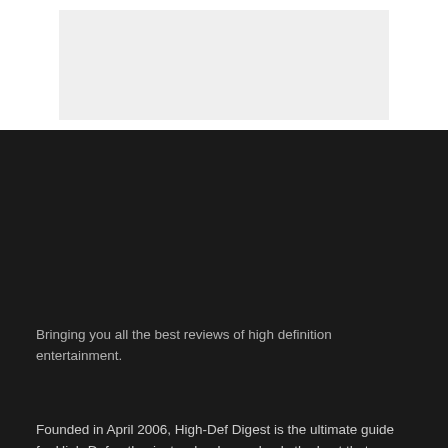[Figure (other): Light gray rectangular placeholder image at top of page]
Bringing you all the best reviews of high definition entertainment.
Founded in April 2006, High-Def Digest is the ultimate guide for High-Def enthusiasts who demand only the best that money can buy. Updated daily and in real-time, we track all high-def disc news and release dates, and review the latest disc titles.